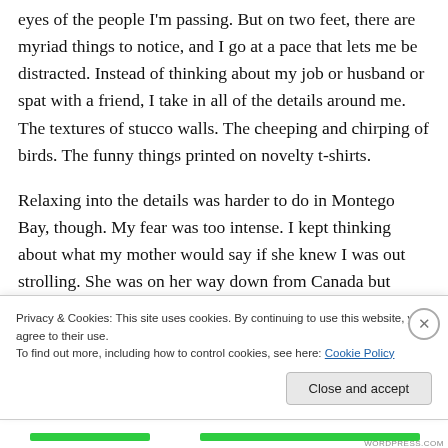eyes of the people I'm passing. But on two feet, there are myriad things to notice, and I go at a pace that lets me be distracted. Instead of thinking about my job or husband or spat with a friend, I take in all of the details around me. The textures of stucco walls. The cheeping and chirping of birds. The funny things printed on novelty t-shirts.
Relaxing into the details was harder to do in Montego Bay, though. My fear was too intense. I kept thinking about what my mother would say if she knew I was out strolling. She was on her way down from Canada but hadn't arrived
Privacy & Cookies: This site uses cookies. By continuing to use this website, you agree to their use.
To find out more, including how to control cookies, see here: Cookie Policy
Close and accept